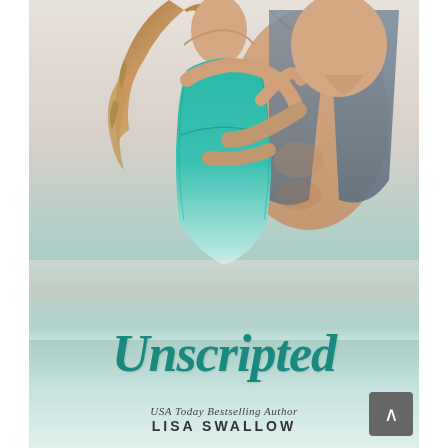[Figure (photo): Book cover for 'Unscripted' by Lisa Swallow. Shows a romantic couple embracing — a woman with curly brown hair wearing a teal/turquoise dress with her back to the viewer, and a shirtless man in an open grey shirt holding her. The lower portion features the title 'Unscripted' in large teal cursive/script font, followed by 'USA Today Bestselling Author' and 'LISA SWALLOW' in smaller text.]
Unscripted
USA Today Bestselling Author
LISA SWALLOW